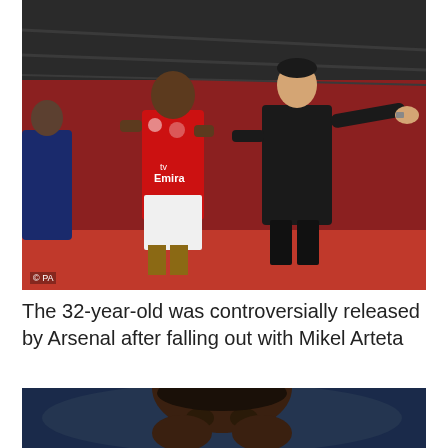[Figure (photo): Arsenal manager Mikel Arteta gesturing with his right arm outstretched while talking to Pierre-Emerick Aubameyang on the pitch. Aubameyang is wearing a red Arsenal kit. Photo credit: PA.]
The 32-year-old was controversially released by Arsenal after falling out with Mikel Arteta
[Figure (photo): Close-up of Pierre-Emerick Aubameyang's face, partial view.]